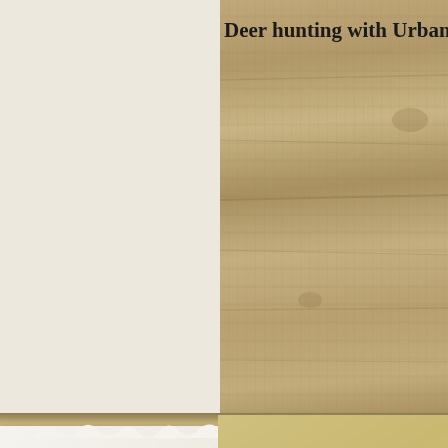Deer hunting with Urban A
Home
About Us
Contact Us
Calendar
Testimonials
Hunting Packages
Photo Gallery
Photo Gallery
Search Photos...
9 Albums
Photo Categories
2012 deer(0)